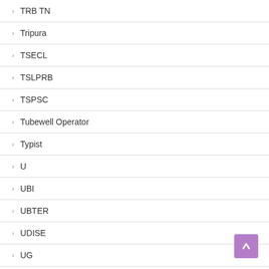TRB TN
Tripura
TSECL
TSLPRB
TSPSC
Tubewell Operator
Typist
U
UBI
UBTER
UDISE
UG
UGC
UGVCL
UIC